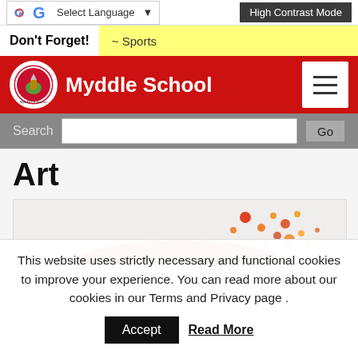Select Language | High Contrast Mode
Don't Forget! ~ Sports
Myddle School
Art
[Figure (photo): Partial view of a red abstract painting or art piece with colorful splatter dots in orange, red, and green on a light background]
This website uses strictly necessary and functional cookies to improve your experience. You can read more about our cookies in our Terms and Privacy page .
Accept
Read More